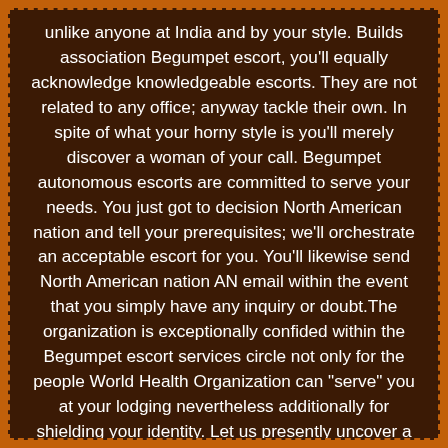unlike anyone at India and by your style. Builds association Begumpet escort, you'll equally acknowledge knowledgeable escorts. They are not related to any office; anyway tackle their own. In spite of what your horny style is you'll merely discover a woman of your call. Begumpet autonomous escorts are committed to serve your needs. You just got to decision North American nation and tell your prerequisites; we'll orchestrate an acceptable escort for you. You'll likewise send North American nation AN email within the event that you simply have any inquiry or doubt.The organization is exceptionally confided within the Begumpet escort services circle not only for the people World Health Organization can "serve" you at your lodging nevertheless additionally for shielding your identity. Let us presently uncover a shivering truth: Thomas name changed had